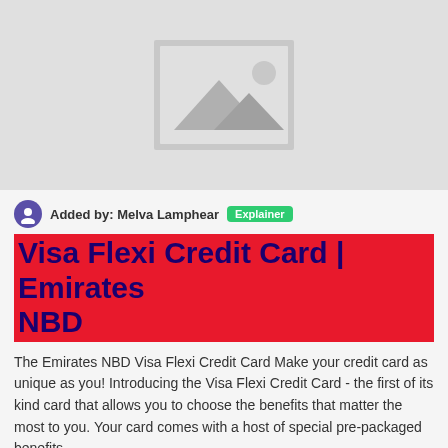[Figure (photo): Grey image placeholder with mountain/landscape icon]
Added by: Melva Lamphear  Explainer
Visa Flexi Credit Card | Emirates NBD
The Emirates NBD Visa Flexi Credit Card Make your credit card as unique as you! Introducing the Visa Flexi Credit Card - the first of its kind card that allows you to choose the benefits that matter the most to you. Your card comes with a host of special pre-packaged benefits. Url: https://www.emiratesnbd.com/en/cards/credit-cards/visa-flexi-credit-card/
| Monthly Visits | Alexa Rank | Popular in | Service Staus |
| --- | --- | --- | --- |
| 36007 | 3581769 | US | Up |